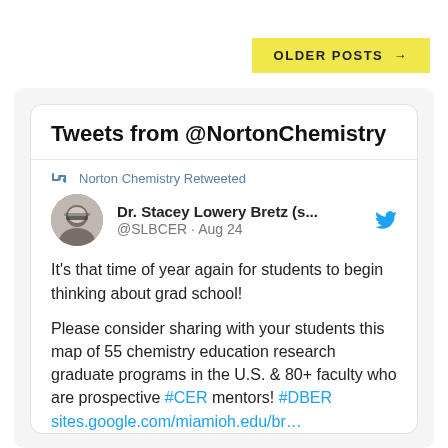OLDER POSTS →
Tweets from @NortonChemistry
Norton Chemistry Retweeted
Dr. Stacey Lowery Bretz (s... @SLBCER · Aug 24
It's that time of year again for students to begin thinking about grad school!

Please consider sharing with your students this map of 55 chemistry education research graduate programs in the U.S. & 80+ faculty who are prospective #CER mentors! #DBER sites.google.com/miamioh.edu/br…